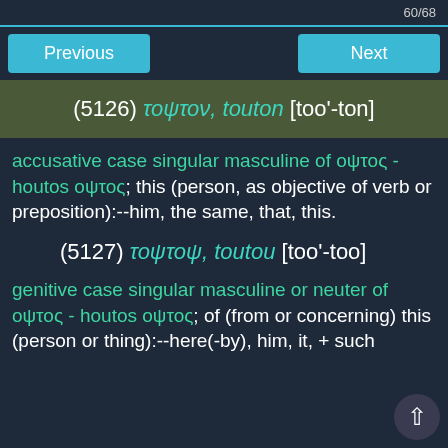60/68
Previous | Next
(5126) τοψτον, touton [too'-ton]
accusative case singular masculine of οψτος - houtos οψτος; this (person, as objective of verb or preposition):--him, the same, that, this.
(5127) τοψτοψ, toutou [too'-too]
genitive case singular masculine or neuter of οψτος - houtos οψτος; of (from or concerning) this (person or thing):--here(-by), him, it, + such